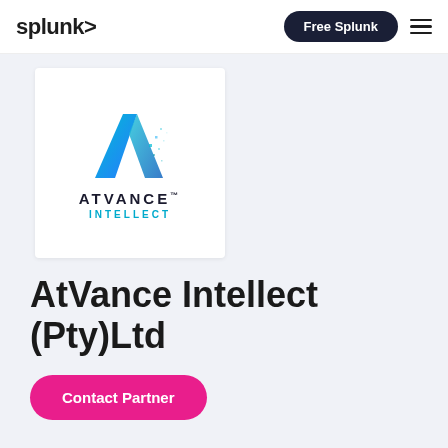splunk>  Free Splunk
[Figure (logo): AtVance Intellect logo: blue gradient letter A with pixel scatter effect, wordmark ATVANCE with TM mark, and INTELLECT in teal below]
AtVance Intellect (Pty)Ltd
Contact Partner